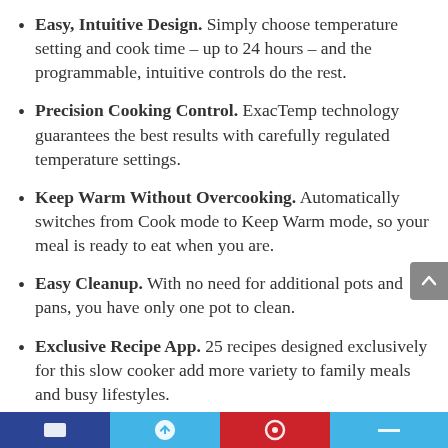Easy, Intuitive Design. Simply choose temperature setting and cook time – up to 24 hours – and the programmable, intuitive controls do the rest.
Precision Cooking Control. ExacTemp technology guarantees the best results with carefully regulated temperature settings.
Keep Warm Without Overcooking. Automatically switches from Cook mode to Keep Warm mode, so your meal is ready to eat when you are.
Easy Cleanup. With no need for additional pots and pans, you have only one pot to clean.
Exclusive Recipe App. 25 recipes designed exclusively for this slow cooker add more variety to family meals and busy lifestyles.